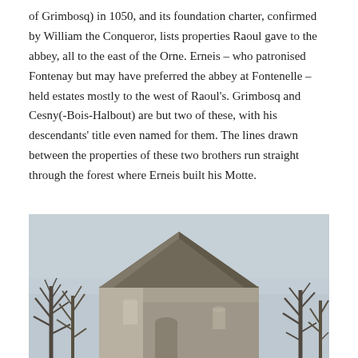of Grimbosq) in 1050, and its foundation charter, confirmed by William the Conqueror, lists properties Raoul gave to the abbey, all to the east of the Orne. Erneis – who patronised Fontenay but may have preferred the abbey at Fontenelle – held estates mostly to the west of Raoul's. Grimbosq and Cesny(-Bois-Halbout) are but two of these, with his descendants' title even named for them. The lines drawn between the properties of these two brothers run straight through the forest where Erneis built his Motte.
[Figure (photo): Photograph of a stone church or abbey building with a steep triangular roof, bare winter trees on either side, against an overcast grey sky.]